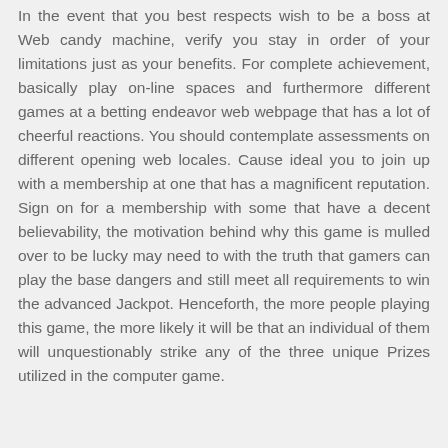In the event that you best respects wish to be a boss at Web candy machine, verify you stay in order of your limitations just as your benefits. For complete achievement, basically play on-line spaces and furthermore different games at a betting endeavor web webpage that has a lot of cheerful reactions. You should contemplate assessments on different opening web locales. Cause ideal you to join up with a membership at one that has a magnificent reputation. Sign on for a membership with some that have a decent believability, the motivation behind why this game is mulled over to be lucky may need to with the truth that gamers can play the base dangers and still meet all requirements to win the advanced Jackpot. Henceforth, the more people playing this game, the more likely it will be that an individual of them will unquestionably strike any of the three unique Prizes utilized in the computer game.